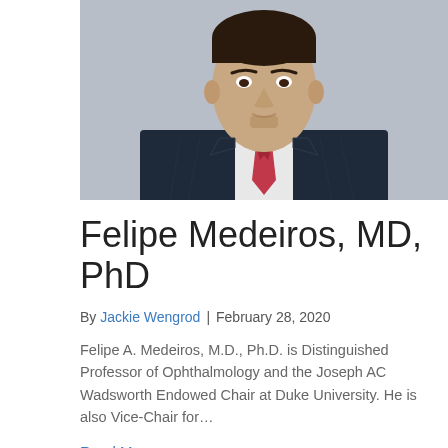[Figure (photo): Professional headshot of Felipe Medeiros, MD, PhD wearing a dark navy suit and red tie against a light gray background]
Felipe Medeiros, MD, PhD
By Jackie Wengrod | February 28, 2020
Felipe A. Medeiros, M.D., Ph.D. is Distinguished Professor of Ophthalmology and the Joseph AC Wadsworth Endowed Chair at Duke University. He is also Vice-Chair for…
Read More